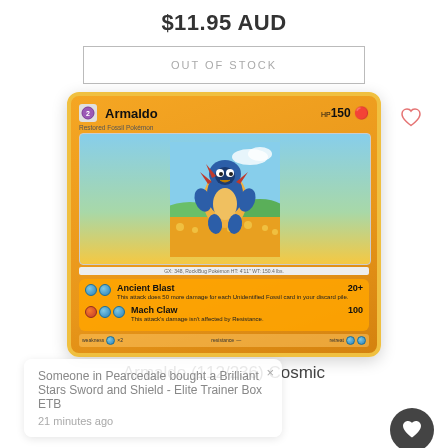$11.95 AUD
OUT OF STOCK
[Figure (illustration): Armaldo Pokémon trading card (112/236) from Cosmic Eclipse set, showing Armaldo with 150 HP, moves Ancient Blast (20+) and Mach Claw (100), with a notification popup overlay about a purchase in Pearcedale]
Someone in Pearcedale bought a Brilliant Stars Sword and Shield - Elite Trainer Box ETB
21 minutes ago
Armaldo (112/236) Cosmic